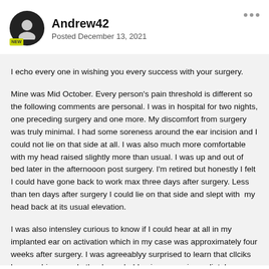Andrew42
Posted December 13, 2021
I echo every one in wishing you every success with your surgery.
Mine was Mid October. Every person's pain threshold is different so the following comments are personal. I was in hospital for two nights, one preceding surgery and one more. My discomfort from surgery was truly minimal. I had some soreness around the ear incision and I could not lie on that side at all. I was also much more comfortable with my head raised slightly more than usual. I was up and out of bed later in the afternooon post surgery. I'm retired but honestly I felt I could have gone back to work max three days after surgery. Less than ten days after surgery I could lie on that side and slept with  my head back at its usual elevation.
I was also intensley curious to know if I could hear at all in my implanted ear on activation which in my case was approximately four weeks after surgery. I was agreeablyy surprised to learn that cllciks bangs, chimes and other household noises were immediately recognisable including noises that I do not even notice normally.